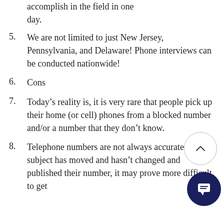accomplish in the field in one day.
5. We are not limited to just New Jersey, Pennsylvania, and Delaware! Phone interviews can be conducted nationwide!
6. Cons
7. Today’s reality is, it is very rare that people pick up their home (or cell) phones from a blocked number and/or a number that they don’t know.
8. Telephone numbers are not always accurate. If the subject has moved and hasn’t changed and published their number, it may prove more difficult to get